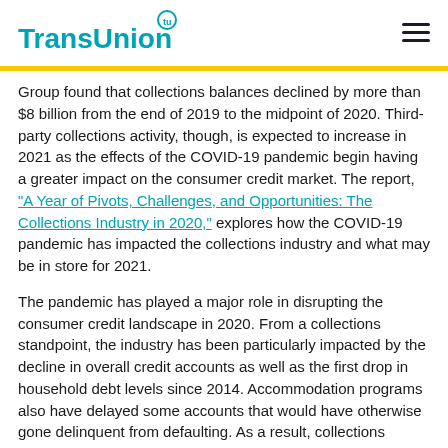TransUnion
Group found that collections balances declined by more than $8 billion from the end of 2019 to the midpoint of 2020. Third-party collections activity, though, is expected to increase in 2021 as the effects of the COVID-19 pandemic begin having a greater impact on the consumer credit market. The report, "A Year of Pivots, Challenges, and Opportunities: The Collections Industry in 2020," explores how the COVID-19 pandemic has impacted the collections industry and what may be in store for 2021.
The pandemic has played a major role in disrupting the consumer credit landscape in 2020. From a collections standpoint, the industry has been particularly impacted by the decline in overall credit accounts as well as the first drop in household debt levels since 2014. Accommodation programs also have delayed some accounts that would have otherwise gone delinquent from defaulting. As a result, collections activity has been much more